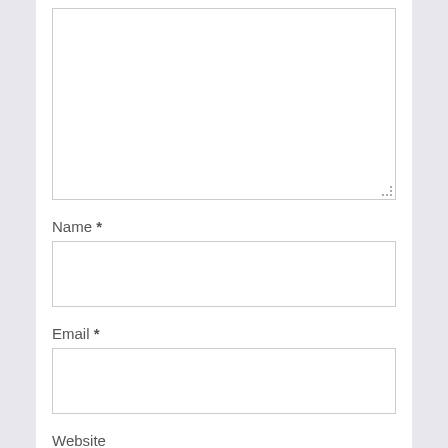[Figure (screenshot): A web comment form showing a large text area for comment input with resize handle, followed by Name * label and input field, Email * label and input field, and a partially visible Website label at the bottom.]
Name *
Email *
Website